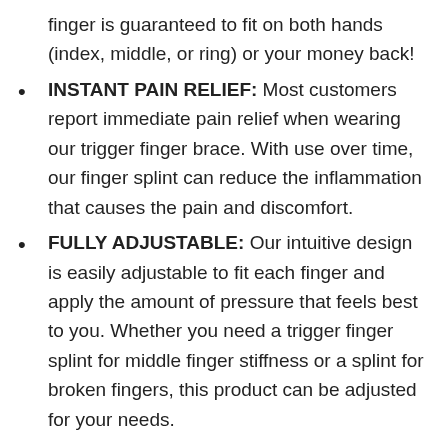finger is guaranteed to fit on both hands (index, middle, or ring) or your money back!
INSTANT PAIN RELIEF: Most customers report immediate pain relief when wearing our trigger finger brace. With use over time, our finger splint can reduce the inflammation that causes the pain and discomfort.
FULLY ADJUSTABLE: Our intuitive design is easily adjustable to fit each finger and apply the amount of pressure that feels best to you. Whether you need a trigger finger splint for middle finger stiffness or a splint for broken fingers, this product can be adjusted for your needs.
GET BACK TO IT GUARANTEE: Your results are our top priority. It’s part of who we are as physicians. So